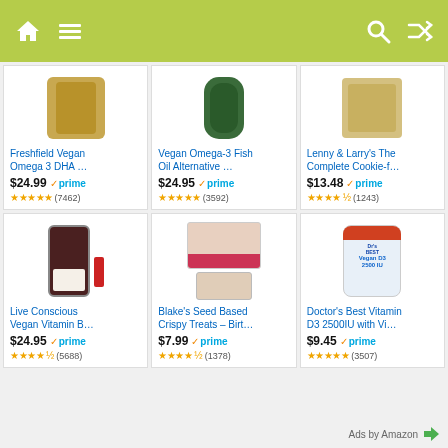[Figure (screenshot): Mobile app navigation bar with home, menu, search, and shuffle icons on a yellow-green background]
Freshfield Vegan Omega 3 DHA …
$24.99 prime
★★★★★ (7462)
Vegan Omega-3 Fish Oil Alternative …
$24.95 prime
★★★★★ (3592)
Lenny & Larry's The Complete Cookie-f…
$13.48 prime
★★★★½ (1243)
Live Conscious Vegan Vitamin B…
$24.95 prime
★★★★½ (5688)
Blake's Seed Based Crispy Treats – Birt…
$7.99 prime
★★★★½ (1378)
Doctor's Best Vitamin D3 2500IU with Vi…
$9.45 prime
★★★★★ (3507)
Ads by Amazon